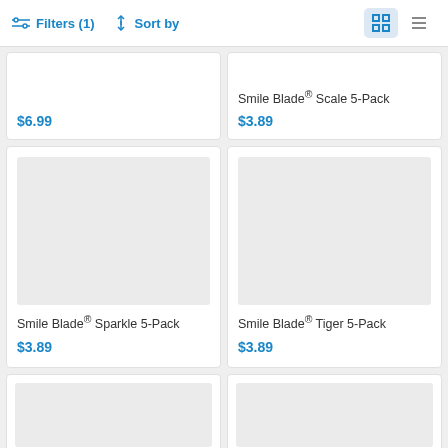Filters (1)  Sort by
$6.99
Smile Blade® Scale 5-Pack
$3.89
[Figure (photo): Gray placeholder image for Smile Blade Sparkle 5-Pack product]
Smile Blade® Sparkle 5-Pack
$3.89
[Figure (photo): Gray placeholder image for Smile Blade Tiger 5-Pack product]
Smile Blade® Tiger 5-Pack
$3.89
[Figure (photo): Gray placeholder image (bottom left, partially visible)]
[Figure (photo): Gray placeholder image (bottom right, partially visible)]